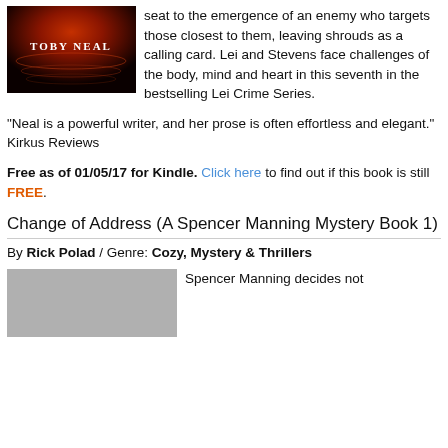[Figure (photo): Book cover for Toby Neal with dark red/orange water texture background and 'TOBY NEAL' text]
seat to the emergence of an enemy who targets those closest to them, leaving shrouds as a calling card. Lei and Stevens face challenges of the body, mind and heart in this seventh in the bestselling Lei Crime Series.
“Neal is a powerful writer, and her prose is often effortless and elegant.” Kirkus Reviews
Free as of 01/05/17 for Kindle. Click here to find out if this book is still FREE.
Change of Address (A Spencer Manning Mystery Book 1)
By Rick Polad / Genre: Cozy, Mystery & Thrillers
[Figure (photo): Book cover placeholder for Change of Address]
Spencer Manning decides not